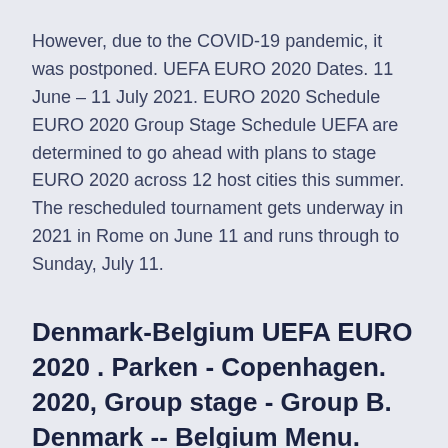However, due to the COVID-19 pandemic, it was postponed. UEFA EURO 2020 Dates. 11 June – 11 July 2021. EURO 2020 Schedule EURO 2020 Group Stage Schedule UEFA are determined to go ahead with plans to stage EURO 2020 across 12 host cities this summer. The rescheduled tournament gets underway in 2021 in Rome on June 11 and runs through to Sunday, July 11.
Denmark-Belgium UEFA EURO 2020 . Parken - Copenhagen. 2020, Group stage - Group B. Denmark -- Belgium Menu. Updates Line-ups Stats Group Match info